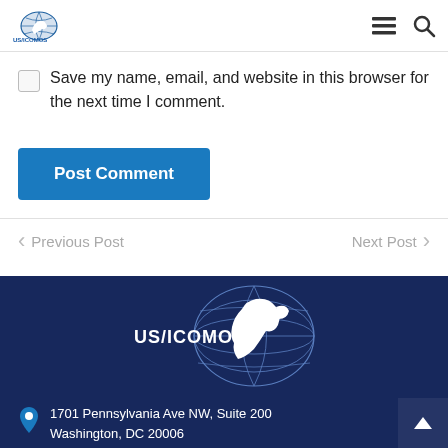US/ICOMOS logo, hamburger menu, search icon
Save my name, email, and website in this browser for the next time I comment.
Post Comment
Previous Post
Next Post
[Figure (logo): US/ICOMOS logo with globe and horse silhouette on dark blue background]
1701 Pennsylvania Ave NW, Suite 200
Washington, DC 20006
United States of America